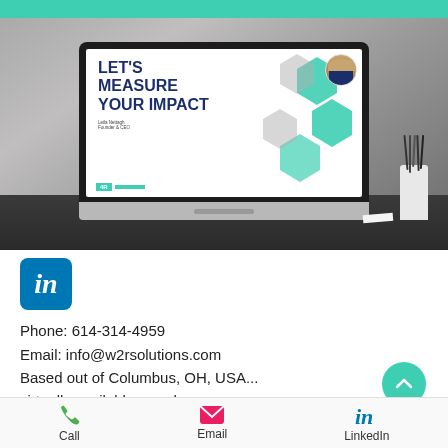[Figure (photo): Laptop on a desk showing a presentation slide titled 'LET'S MEASURE YOUR IMPACT' by Leila Nettagh, Founder & CEO, with teal/green hexagon design elements and person photo]
[Figure (logo): LinkedIn logo icon — blue rounded square with white 'in' text]
Phone: 614-314-4959
Email: info@w2rsolutions.com
Based out of Columbus, OH, USA...
virtually available anywhere.
[Figure (logo): Proud Member badge with teal arc design]
Call   Email   LinkedIn